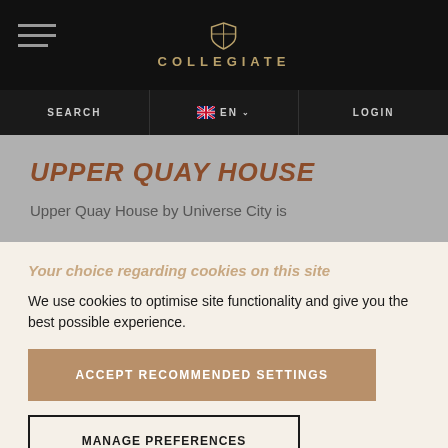COLLEGIATE
SEARCH | EN | LOGIN
UPPER QUAY HOUSE
Upper Quay House by Universe City is
Your choice regarding cookies on this site
We use cookies to optimise site functionality and give you the best possible experience.
ACCEPT RECOMMENDED SETTINGS
MANAGE PREFERENCES